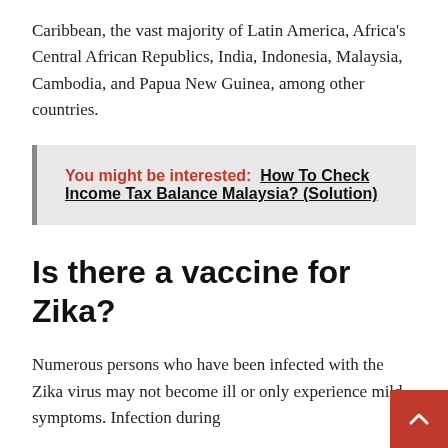Caribbean, the vast majority of Latin America, Africa's Central African Republics, India, Indonesia, Malaysia, Cambodia, and Papua New Guinea, among other countries.
You might be interested: How To Check Income Tax Balance Malaysia? (Solution)
Is there a vaccine for Zika?
Numerous persons who have been infected with the Zika virus may not become ill or only experience mild symptoms. Infection during